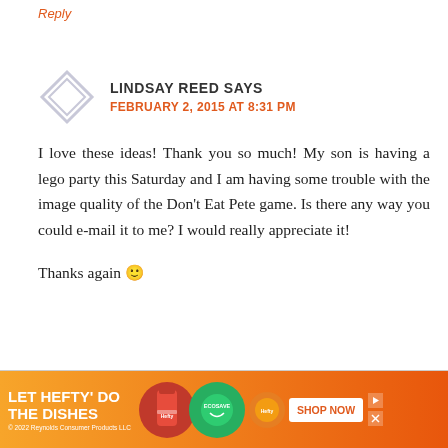Reply
LINDSAY REED SAYS
FEBRUARY 2, 2015 AT 8:31 PM
I love these ideas! Thank you so much! My son is having a lego party this Saturday and I am having some trouble with the image quality of the Don't Eat Pete game. Is there any way you could e-mail it to me? I would really appreciate it!
Thanks again 🙂
Reply
[Figure (infographic): Advertisement banner: LET HEFTY DO THE DISHES with product images and SHOP NOW button. © 2022 Reynolds Consumer Products LLC]